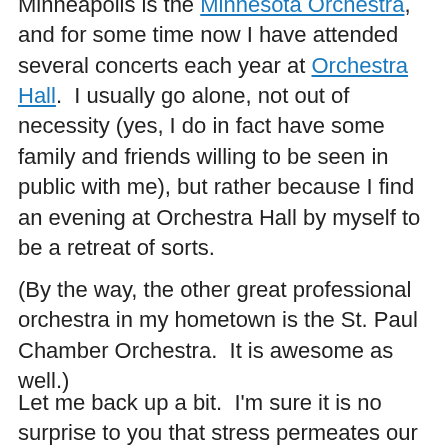Minneapolis is the Minnesota Orchestra, and for some time now I have attended several concerts each year at Orchestra Hall.  I usually go alone, not out of necessity (yes, I do in fact have some family and friends willing to be seen in public with me), but rather because I find an evening at Orchestra Hall by myself to be a retreat of sorts.
(By the way, the other great professional orchestra in my hometown is the St. Paul Chamber Orchestra.  It is awesome as well.)
Let me back up a bit.  I'm sure it is no surprise to you that stress permeates our fast-paced lives.  I know it does for me.  For me, my daily work involves standing at the bedside of vulnerable patients, talking to them of sickness and medications and painful procedures, explaining